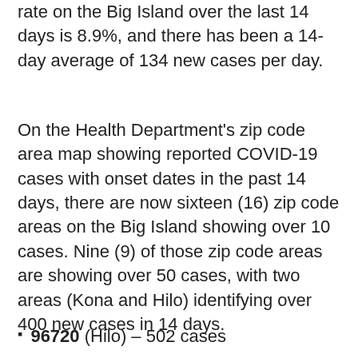rate on the Big Island over the last 14 days is 8.9%, and there has been a 14-day average of 134 new cases per day.
On the Health Department's zip code area map showing reported COVID-19 cases with onset dates in the past 14 days, there are now sixteen (16) zip code areas on the Big Island showing over 10 cases. Nine (9) of those zip code areas are showing over 50 cases, with two areas (Kona and Hilo) identifying over 400 new cases in 14 days.
96720 (Hilo) – 502 cases